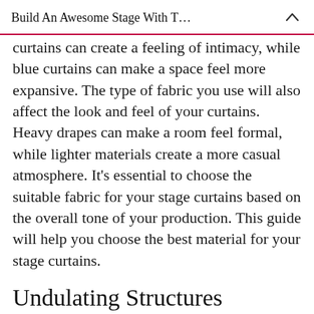Build An Awesome Stage With T…
curtains can create a feeling of intimacy, while blue curtains can make a space feel more expansive. The type of fabric you use will also affect the look and feel of your curtains. Heavy drapes can make a room feel formal, while lighter materials create a more casual atmosphere. It's essential to choose the suitable fabric for your stage curtains based on the overall tone of your production. This guide will help you choose the best material for your stage curtains.
Undulating Structures